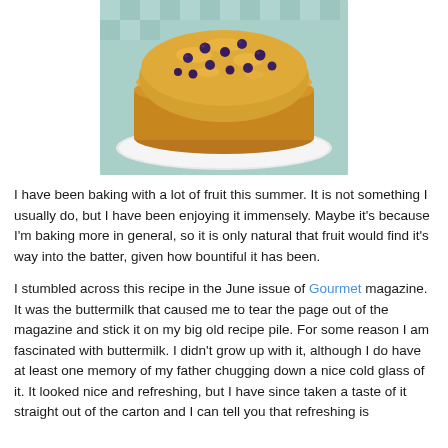[Figure (photo): A round blueberry cake/coffee cake with golden crumble topping and visible blueberries, served on a white plate with a teal checkered tablecloth visible underneath.]
I have been baking with a lot of fruit this summer. It is not something I usually do, but I have been enjoying it immensely. Maybe it's because I'm baking more in general, so it is only natural that fruit would find it's way into the batter, given how bountiful it has been.
I stumbled across this recipe in the June issue of Gourmet magazine. It was the buttermilk that caused me to tear the page out of the magazine and stick it on my big old recipe pile. For some reason I am fascinated with buttermilk. I didn't grow up with it, although I do have at least one memory of my father chugging down a nice cold glass of it. It looked nice and refreshing, but I have since taken a taste of it straight out of the carton and I can tell you that refreshing is